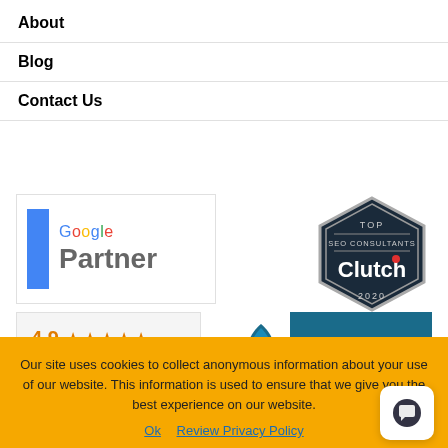About
Blog
Contact Us
[Figure (logo): Google Partner badge with blue vertical bar and Google Partner text]
[Figure (logo): Clutch Top SEO Consultants 2020 hexagonal badge]
[Figure (logo): Google 4.9 star rating badge]
[Figure (logo): BBB Accredited badge with blue background]
Our site uses cookies to collect anonymous information about your use of our website. This information is used to ensure that we give you the best experience on our website.
Ok   Review Privacy Policy